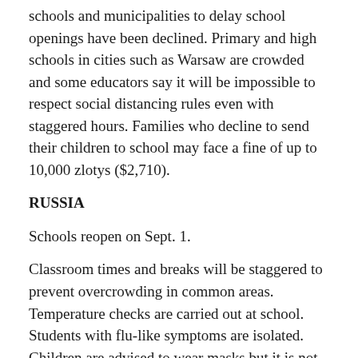schools and municipalities to delay school openings have been declined. Primary and high schools in cities such as Warsaw are crowded and some educators say it will be impossible to respect social distancing rules even with staggered hours. Families who decline to send their children to school may face a fine of up to 10,000 zlotys ($2,710).
RUSSIA
Schools reopen on Sept. 1.
Classroom times and breaks will be staggered to prevent overcrowding in common areas. Temperature checks are carried out at school. Students with flu-like symptoms are isolated. Children are advised to wear masks but it is not compulsory. Staff are expected to wear masks all the times unless explaining new material or standing at a safe distance from students.
Online education will not be offered as an alternative.